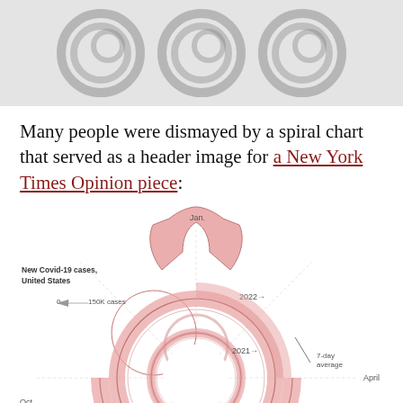[Figure (illustration): Top decorative spiral chart header image showing three spiral shapes on a light gray background]
Many people were dismayed by a spiral chart that served as a header image for a New York Times Opinion piece:
[Figure (other): A polar/spiral chart titled 'New Covid-19 cases, United States' showing COVID-19 case data from 2020, 2021, and 2022 in a spiral format. Shows 7-day average as a pink shaded band spiraling outward, with Jan. at top, April at right, Oct. at left. Labels: 0, 150K cases, 2020, 2021, 2022 arrows.]